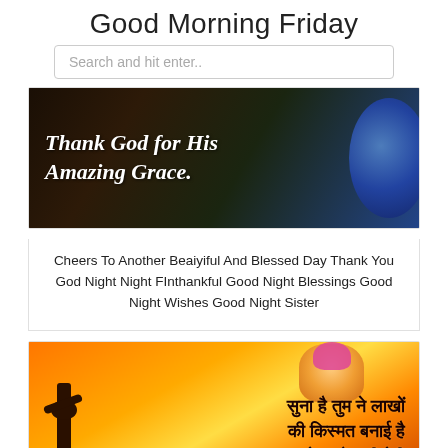Good Morning Friday
Search and hit enter..
[Figure (photo): Dark devotional image with text overlay reading 'Thank God for His Amazing Grace.']
Cheers To Another Beaiyiful And Blessed Day Thank You God Night Night FInthankful Good Night Blessings Good Night Wishes Good Night Sister
[Figure (photo): Orange/yellow devotional Hindu image with dark silhouette figure and Hindi text: सुना है तुम ने लाखों की किस्मत बनाई है देख तो सही मेरी]